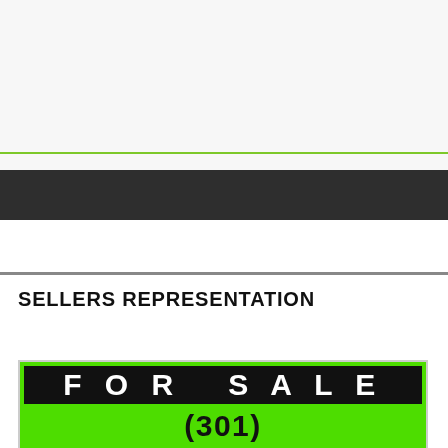SELLERS REPRESENTATION
[Figure (photo): A bright green real estate FOR SALE sign with black header bar showing 'FOR SALE' in white bold letters and a phone number partially visible at the bottom]